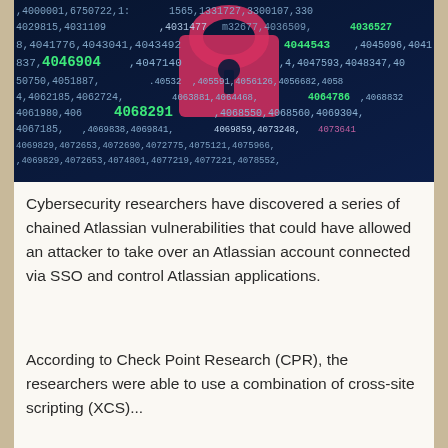[Figure (photo): Cybersecurity themed image showing a digital padlock silhouette in pink/red against a dark blue background filled with streams of numbers in green, white, and pink. Numbers visible include 4029815, 4031109, 4031477, 4041776, 4043041, 4043492, 4044543, 4046904, 4047140, 4051887, 4062185, 4062724, 4061980, 4068291, 4068550, 4068560, 4067185, 4069838, 4069841, 4069829, 4072653, 4072690 and many more.]
Cybersecurity researchers have discovered a series of chained Atlassian vulnerabilities that could have allowed an attacker to take over an Atlassian account connected via SSO and control Atlassian applications.
According to Check Point Research (CPR), the researchers were able to use a combination of cross-site scripting (XCS) ...